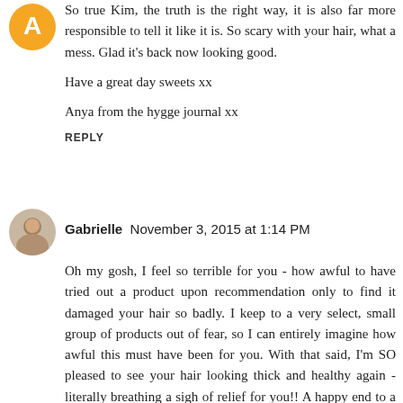[Figure (illustration): Orange circular avatar/icon for first commenter (Anya)]
So true Kim, the truth is the right way, it is also far more responsible to tell it like it is. So scary with your hair, what a mess. Glad it's back now looking good.

Have a great day sweets xx

Anya from the hygge journal xx
REPLY
[Figure (photo): Circular avatar photo of Gabrielle, a person with light hair]
Gabrielle  November 3, 2015 at 1:14 PM
Oh my gosh, I feel so terrible for you - how awful to have tried out a product upon recommendation only to find it damaged your hair so badly. I keep to a very select, small group of products out of fear, so I can entirely imagine how awful this must have been for you. With that said, I'm SO pleased to see your hair looking thick and healthy again - literally breathing a sigh of relief for you!! A happy end to a horrible story :) have a lovely week Kim (and stroke that beautiful healthy hair of yours haha)! :)
Gabrielle | A Glass Of Ice